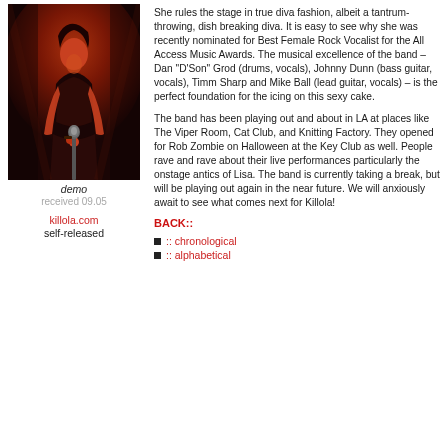[Figure (photo): Concert photo of female rock singer leaning into microphone on stage, dramatic red stage lighting, wearing dark outfit]
demo
received 09.05
killola.com
self-released
She rules the stage in true diva fashion, albeit a tantrum-throwing, dish breaking diva. It is easy to see why she was recently nominated for Best Female Rock Vocalist for the All Access Music Awards. The musical excellence of the band – Dan "D'Son" Grod (drums, vocals), Johnny Dunn (bass guitar, vocals), Timm Sharp and Mike Ball (lead guitar, vocals) – is the perfect foundation for the icing on this sexy cake.
The band has been playing out and about in LA at places like The Viper Room, Cat Club, and Knitting Factory. They opened for Rob Zombie on Halloween at the Key Club as well. People rave and rave about their live performances particularly the onstage antics of Lisa. The band is currently taking a break, but will be playing out again in the near future. We will anxiously await to see what comes next for Killola!
BACK::
:: chronological
:: alphabetical